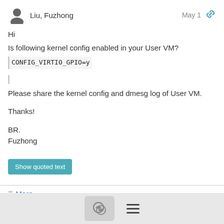Liu, Fuzhong — May 1
Hi
Is following kernel config enabled in your User VM?
CONFIG_VIRTIO_GPIO=y
Please share the kernel config and dmesg log of User VM.

Thanks!

BR.
Fuzhong
Show quoted text
≡ More
May 2